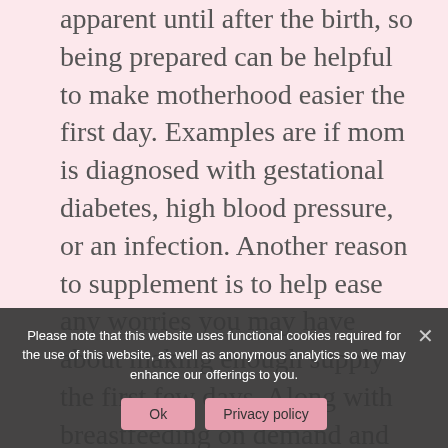apparent until after the birth, so being prepared can be helpful to make motherhood easier the first day. Examples are if mom is diagnosed with gestational diabetes, high blood pressure, or an infection. Another reason to supplement is to help ease any worries you may have about making enough supply the first few days. Along with breastfeeding on demand and hand expressing, you can give the baby a little top off after feeds.
Before getting started, you need to speak to your provider to see if AHE is a good fit for you. It is contraindicated if you are preterm, less than 37 weeks, you have cerclage in place, a low-lying placenta, placenta previa or accreta, or any other risks for vaginal or uterine
Please note that this website uses functional cookies required for the use of this website, as well as anonymous analytics so we may enhance our offerings to you.